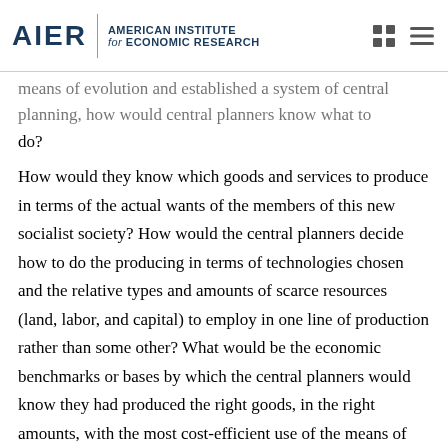AIER | AMERICAN INSTITUTE for ECONOMIC RESEARCH
means of evolution and established a system of central planning, how would central planners know what to do?
How would they know which goods and services to produce in terms of the actual wants of the members of this new socialist society? How would the central planners decide how to do the producing in terms of technologies chosen and the relative types and amounts of scarce resources (land, labor, and capital) to employ in one line of production rather than some other? What would be the economic benchmarks or bases by which the central planners would know they had produced the right goods, in the right amounts, with the most cost-efficient use of the means of production under their control to ensure that the best outcomes prevailed with the least economic costs?